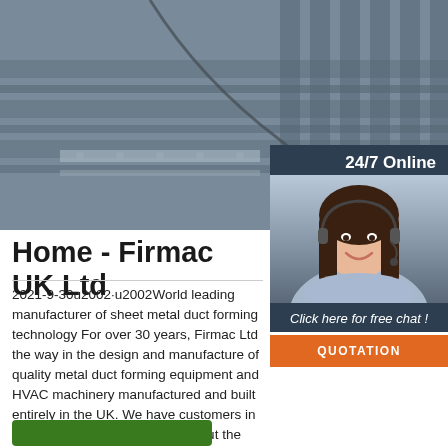[Figure (photo): Industrial sheet metal duct forming machinery on a production line, showing metal parts and conveyor mechanisms]
24/7 Online
[Figure (photo): Woman with headset smiling, representing 24/7 online customer support]
Click here for free chat !
QUOTATION
Home - Firmac UK Ltd
2021-9-30u2002·u2002World leading manufacturer of sheet metal duct forming technology For over 30 years, Firmac Ltd the way in the design and manufacture of quality metal duct forming equipment and HVAC machinery manufactured and built entirely in the UK. We have customers in more than 50 countries throughout the world who rely on our machinery to produce sheet metal ductwork, which is …